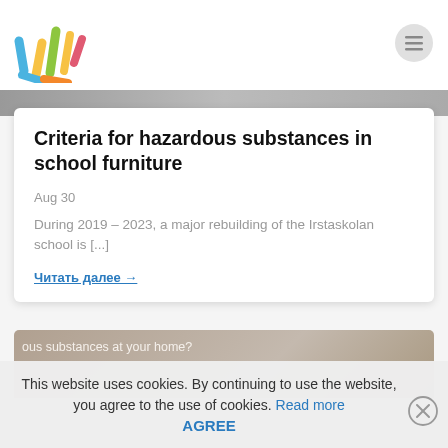[Figure (logo): Colorful hand/fingers logo with multiple colored lines]
[Figure (other): Hamburger menu icon (circle with three lines)]
[Figure (photo): Partial photo strip at top of article card area]
Criteria for hazardous substances in school furniture
Aug 30
During 2019 – 2023, a major rebuilding of the Irstaskolan school is [...]
Читать далее →
[Figure (photo): Partial image with text 'ous substances at your home?']
This website uses cookies. By continuing to use the website, you agree to the use of cookies. Read more AGREE